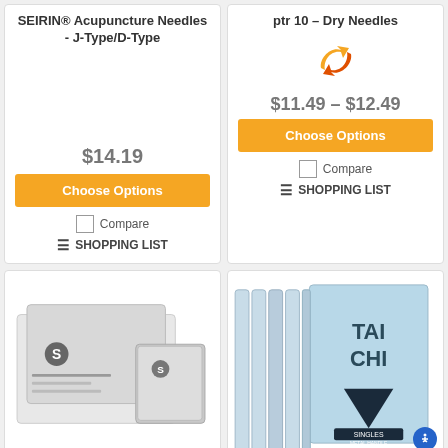SEIRIN® Acupuncture Needles - J-Type/D-Type
$14.19
Choose Options
Compare
SHOPPING LIST
ptr 10 – Dry Needles
[Figure (illustration): Orange and red swap/refresh arrows icon]
$11.49 - $12.49
Choose Options
Compare
SHOPPING LIST
[Figure (photo): SEIRIN acupuncture needle boxes product photo]
[Figure (photo): Tai Chi acupuncture needles singles metal handle product photo with blue packaging]